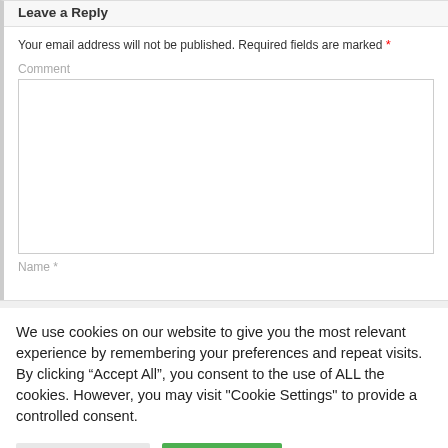Leave a Reply
Your email address will not be published. Required fields are marked *
Comment
We use cookies on our website to give you the most relevant experience by remembering your preferences and repeat visits. By clicking “Accept All”, you consent to the use of ALL the cookies. However, you may visit "Cookie Settings" to provide a controlled consent.